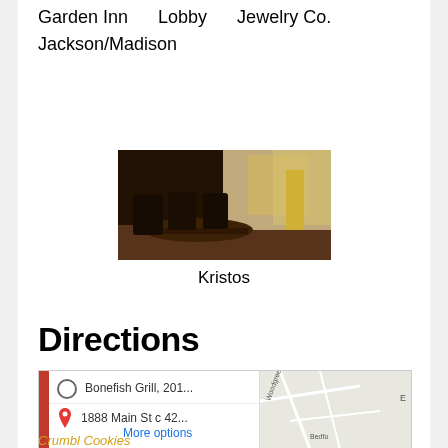Garden Inn    Lobby    Jewelry Co.
Jackson/Madison
[Figure (photo): Interior photo of a restaurant with dark wood tables and chairs, warm lighting, named Kristos]
Kristos
Directions
[Figure (screenshot): Google Maps directions screenshot showing route from Bonefish Grill, 201... to 1888 Main St c 42..., with a More options link and partial map view showing Woodgreen road and Bedford area]